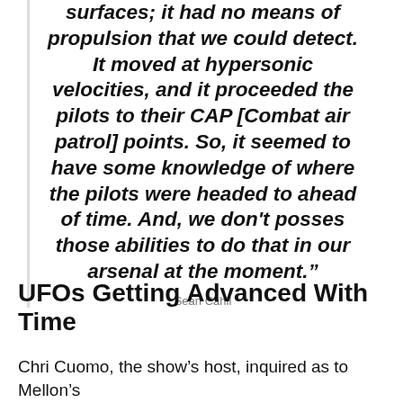surfaces; it had no means of propulsion that we could detect. It moved at hypersonic velocities, and it proceeded the pilots to their CAP [Combat air patrol] points. So, it seemed to have some knowledge of where the pilots were headed to ahead of time. And, we don't posses those abilities to do that in our arsenal at the moment.”
Sean Cahil
UFOs Getting Advanced With Time
Chri Cuomo, the show’s host, inquired as to Mellon’s